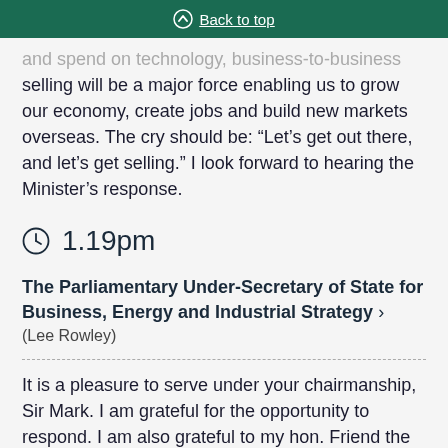Back to top
and spend on technology, business-to-business selling will be a major force enabling us to grow our economy, create jobs and build new markets overseas. The cry should be: “Let’s get out there, and let’s get selling.” I look forward to hearing the Minister’s response.
1.19pm
The Parliamentary Under-Secretary of State for Business, Energy and Industrial Strategy ›
(Lee Rowley)
It is a pleasure to serve under your chairmanship, Sir Mark. I am grateful for the opportunity to respond. I am also grateful to my hon. Friend the Member for